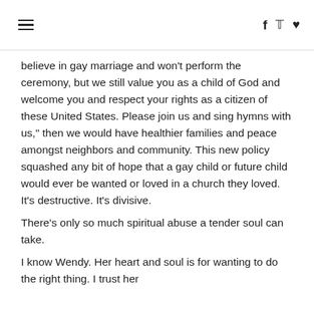≡  f  🐦  ♥
believe in gay marriage and won't perform the ceremony, but we still value you as a child of God and welcome you and respect your rights as a citizen of these United States. Please join us and sing hymns with us," then we would have healthier families and peace amongst neighbors and community. This new policy squashed any bit of hope that a gay child or future child would ever be wanted or loved in a church they loved. It's destructive. It's divisive.
There's only so much spiritual abuse a tender soul can take.
I know Wendy. Her heart and soul is for wanting to do the right thing. I trust her